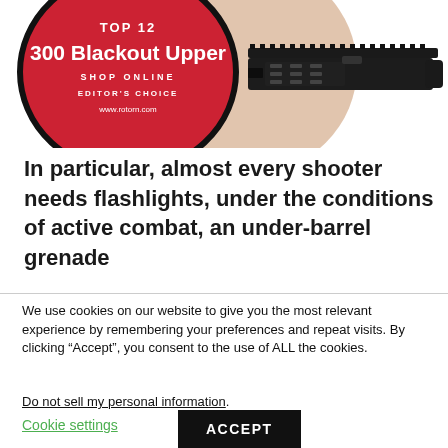[Figure (illustration): Red circular badge with 'TOP 12 300 Blackout Upper SHOP ONLINE EDITOR'S CHOICE www.rotorn.com' text, with a tan/beige circle overlapping, and a black gun upper receiver assembly shown to the right]
In particular, almost every shooter needs flashlights, under the conditions of active combat, an under-barrel grenade
We use cookies on our website to give you the most relevant experience by remembering your preferences and repeat visits. By clicking “Accept”, you consent to the use of ALL the cookies.
Do not sell my personal information.
Cookie settings
ACCEPT